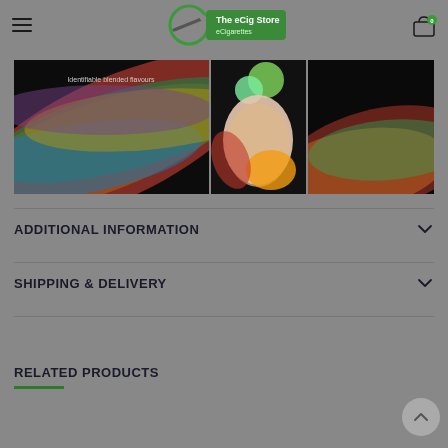The eCig Store - eCigarettes
[Figure (photo): Three product images side by side: colorful swirling abstract patterns with text 'Identifiable blended flavours', fruits on colorful swirl background, dark background with colorful swirl]
ADDITIONAL INFORMATION
SHIPPING & DELIVERY
RELATED PRODUCTS